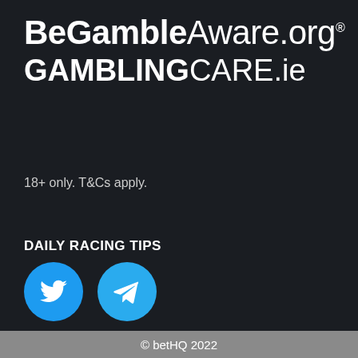[Figure (logo): BeGambleAware.org logo in large white text on dark background]
[Figure (logo): GAMBLINGCARE.ie logo in large white text on dark background]
18+ only. T&Cs apply.
DAILY RACING TIPS
[Figure (logo): Twitter bird icon in blue circle]
[Figure (logo): Telegram paper plane icon in blue circle]
© betHQ 2022